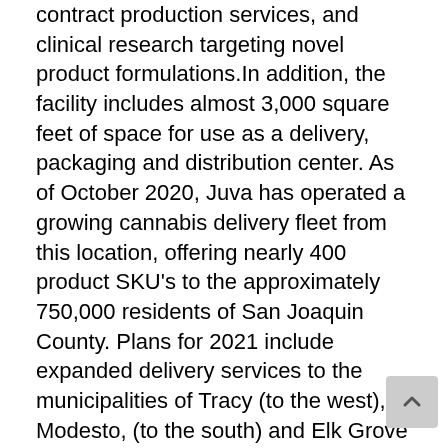contract production services, and clinical research targeting novel product formulations.In addition, the facility includes almost 3,000 square feet of space for use as a delivery, packaging and distribution center. As of October 2020, Juva has operated a growing cannabis delivery fleet from this location, offering nearly 400 product SKU's to the approximately 750,000 residents of San Joaquin County. Plans for 2021 include expanded delivery services to the municipalities of Tracy (to the west), Modesto, (to the south) and Elk Grove (to the north).The facility provides the residential delivery service separately from the distribution center which is designed to service B2B shipping of bulk cannabis to other licensed cannabis businesses (including related Juva facilities) as well as planned distribution of Juva branded products. The entire facility has been outfitted to be completely powered by low emission onsite